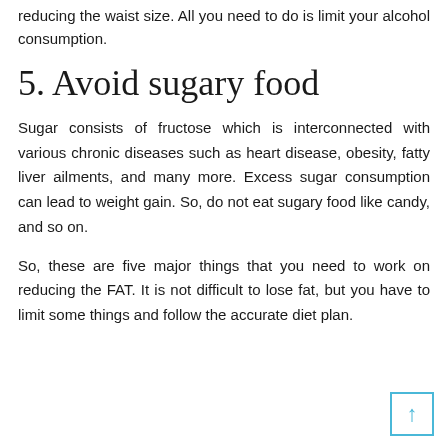reducing the waist size. All you need to do is limit your alcohol consumption.
5. Avoid sugary food
Sugar consists of fructose which is interconnected with various chronic diseases such as heart disease, obesity, fatty liver ailments, and many more. Excess sugar consumption can lead to weight gain. So, do not eat sugary food like candy, and so on.
So, these are five major things that you need to work on reducing the FAT. It is not difficult to lose fat, but you have to limit some things and follow the accurate diet plan.